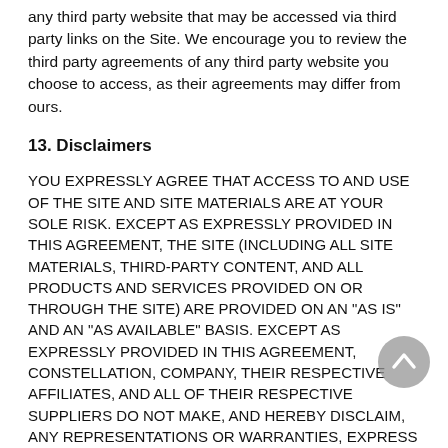any third party website that may be accessed via third party links on the Site. We encourage you to review the third party agreements of any third party website you choose to access, as their agreements may differ from ours.
13. Disclaimers
YOU EXPRESSLY AGREE THAT ACCESS TO AND USE OF THE SITE AND SITE MATERIALS ARE AT YOUR SOLE RISK. EXCEPT AS EXPRESSLY PROVIDED IN THIS AGREEMENT, THE SITE (INCLUDING ALL SITE MATERIALS, THIRD-PARTY CONTENT, AND ALL PRODUCTS AND SERVICES PROVIDED ON OR THROUGH THE SITE) ARE PROVIDED ON AN "AS IS" AND AN "AS AVAILABLE" BASIS. EXCEPT AS EXPRESSLY PROVIDED IN THIS AGREEMENT, CONSTELLATION, COMPANY, THEIR RESPECTIVE AFFILIATES, AND ALL OF THEIR RESPECTIVE SUPPLIERS DO NOT MAKE, AND HEREBY DISCLAIM, ANY REPRESENTATIONS OR WARRANTIES, EXPRESS